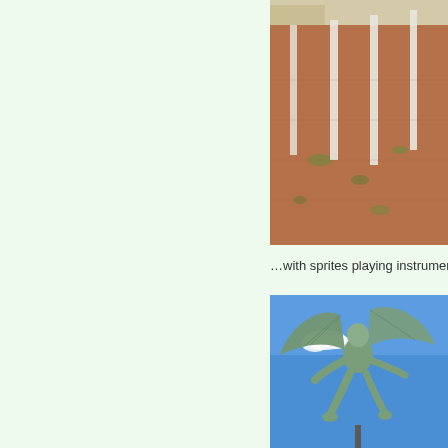[Figure (photo): Outdoor plaza area with brick/terracotta paving and white poles/columns visible in background]
…with sprites playing instruments.
[Figure (photo): Bronze or green-patina winged sprite/angel statue against a blue sky with white clouds]